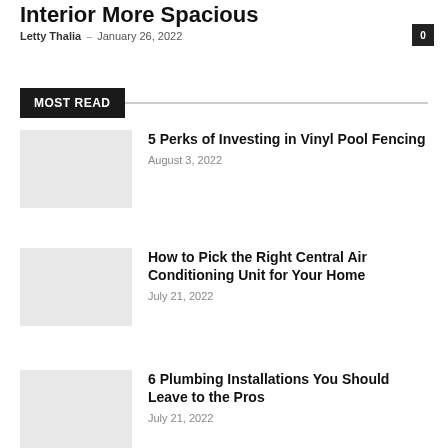Interior More Spacious
Letty Thalia – January 26, 2022
0
MOST READ
5 Perks of Investing in Vinyl Pool Fencing
August 3, 2022
How to Pick the Right Central Air Conditioning Unit for Your Home
July 21, 2022
6 Plumbing Installations You Should Leave to the Pros
July 21, 2022